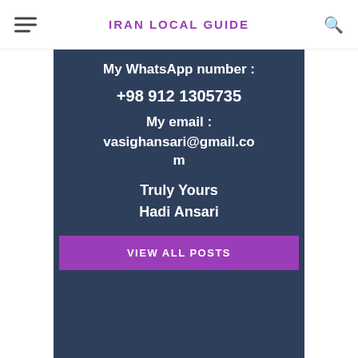IRAN LOCAL GUIDE
My WhatsApp number : +98 912 1305735
My email : vasighansari@gmail.com
Truly Yours
Hadi Ansari
VIEW ALL POSTS